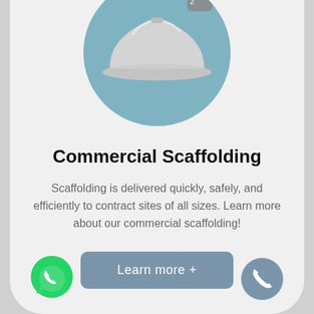[Figure (illustration): Construction hard hat / safety helmet illustration inside a teal circular background, partially cropped at top]
Commercial Scaffolding
Scaffolding is delivered quickly, safely, and efficiently to contract sites of all sizes. Learn more about our commercial scaffolding!
[Figure (other): Button labeled 'Learn more +']
[Figure (other): WhatsApp green phone icon button at bottom left]
[Figure (other): Phone call icon button at bottom right in steel blue]